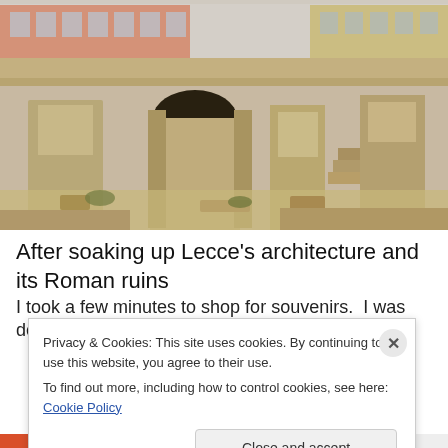[Figure (photo): Photograph of ancient Roman ruins in Lecce, Italy, showing stone columns and archways with modern city buildings visible in the background]
After soaking up Lecce's architecture and its Roman ruins
I took a few minutes to shop for souvenirs. I was delighted
Privacy & Cookies: This site uses cookies. By continuing to use this website, you agree to their use.
To find out more, including how to control cookies, see here: Cookie Policy
Close and accept